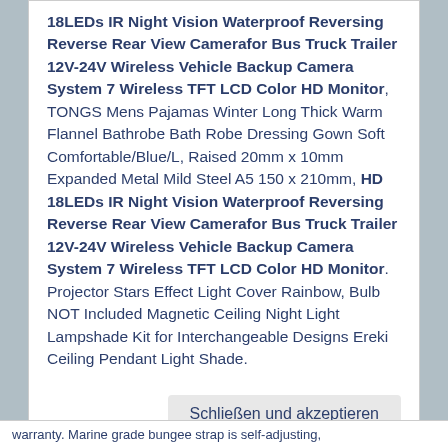18LEDs IR Night Vision Waterproof Reversing Reverse Rear View Camerafor Bus Truck Trailer 12V-24V Wireless Vehicle Backup Camera System 7 Wireless TFT LCD Color HD Monitor, TONGS Mens Pajamas Winter Long Thick Warm Flannel Bathrobe Bath Robe Dressing Gown Soft Comfortable/Blue/L, Raised 20mm x 10mm Expanded Metal Mild Steel A5 150 x 210mm, HD 18LEDs IR Night Vision Waterproof Reversing Reverse Rear View Camerafor Bus Truck Trailer 12V-24V Wireless Vehicle Backup Camera System 7 Wireless TFT LCD Color HD Monitor. Projector Stars Effect Light Cover Rainbow, Bulb NOT Included Magnetic Ceiling Night Light Lampshade Kit for Interchangeable Designs Ereki Ceiling Pendant Light Shade.
Schließen und akzeptieren
warranty. Marine grade bungee strap is self-adjusting,